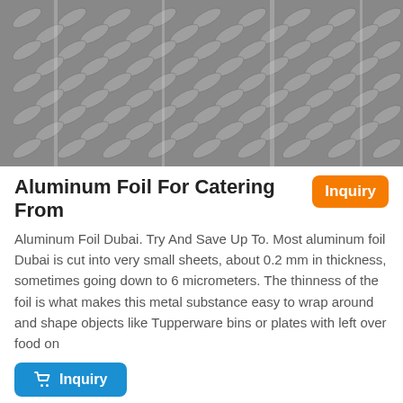[Figure (photo): Close-up photo of a diamond plate / checker plate aluminum surface with raised diamond pattern, gray metallic texture]
Aluminum Foil For Catering From
Aluminum Foil Dubai. Try And Save Up To. Most aluminum foil Dubai is cut into very small sheets, about 0.2 mm in thickness, sometimes going down to 6 micrometers. The thinness of the foil is what makes this metal substance easy to wrap around and shape objects like Tupperware bins or plates with left over food on
[Figure (photo): Photo of a diamond plate / checker plate aluminum sheet with raised diamond pattern, lighter gray metallic surface, partial view of sheet against plain gray background]